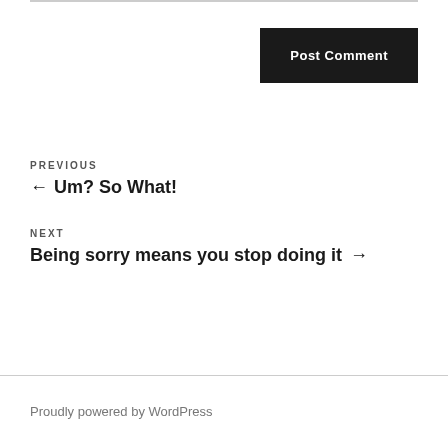Post Comment
PREVIOUS
← Um? So What!
NEXT
Being sorry means you stop doing it →
Proudly powered by WordPress